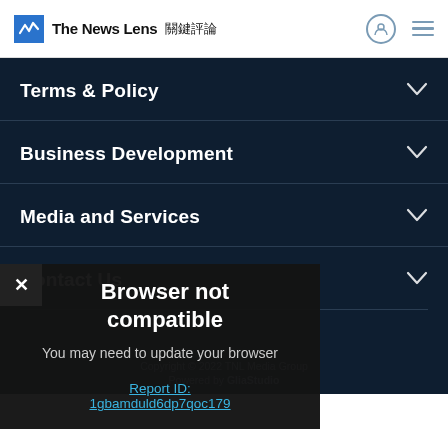The News Lens 關鍵評論
Terms & Policy
Business Development
Media and Services
Contact Us
Browser not compatible
You may need to update your browser
Report ID: 1gbamduld6dp7qoc179
Copyright © 2022 TNL Media Group
Powered by GliaStudio